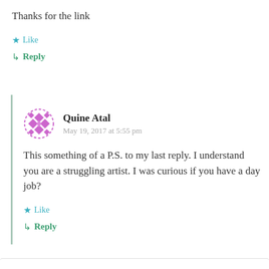Thanks for the link
★ Like
↳ Reply
Quine Atal
May 19, 2017 at 5:55 pm
This something of a P.S. to my last reply. I understand you are a struggling artist. I was curious if you have a day job?
★ Like
↳ Reply